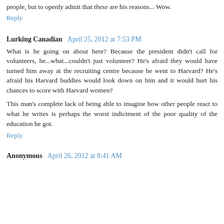people, but to openly admit that these are his reasons... Wow.
Reply
Lurking Canadian  April 25, 2012 at 7:53 PM
What is he going on about here? Because the president didn't call for volunteers, he...what...couldn't just volunteer? He's afraid they would have turned him away at the recruiting centre because he went to Harvard? He's afraid his Harvard buddies would look down on him and it would hurt his chances to score with Harvard women?
This man's complete lack of being able to imagine how other people react to what he writes is perhaps the worst indictment of the poor quality of the education he got.
Reply
Anonymous  April 26, 2012 at 8:41 AM